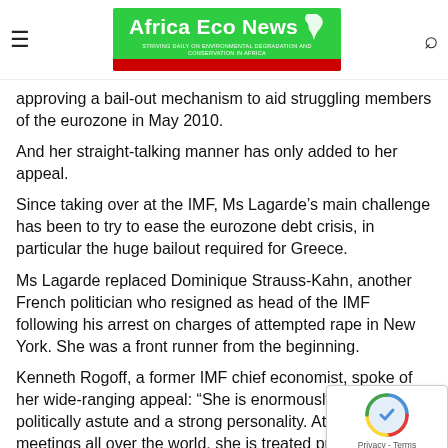Africa Eco News
approving a bail-out mechanism to aid struggling members of the eurozone in May 2010.
And her straight-talking manner has only added to her appeal.
Since taking over at the IMF, Ms Lagarde’s main challenge has been to try to ease the eurozone debt crisis, in particular the huge bailout required for Greece.
Ms Lagarde replaced Dominique Strauss-Kahn, another French politician who resigned as head of the IMF following his arrest on charges of attempted rape in New York. She was a front runner from the beginning.
Kenneth Rogoff, a former IMF chief economist, spoke of her wide-ranging appeal: “She is enormously impre... politically astute and a strong personality. At finance meetings all over the world, she is treated practically...